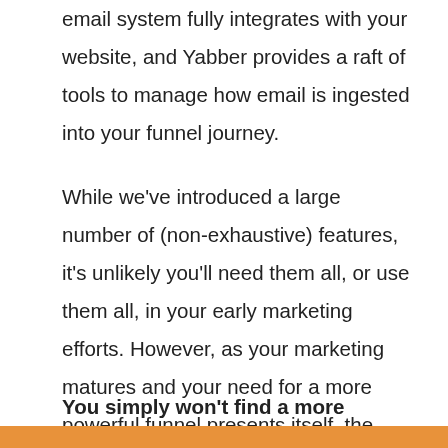email system fully integrates with your website, and Yabber provides a raft of tools to manage how email is ingested into your funnel journey.
While we've introduced a large number of (non-exhaustive) features, it's unlikely you'll need them all, or use them all, in your early marketing efforts. However, as your marketing matures and your need for a more powerful funnel presents itself, the necessary tools are available to you.
You simply won't find a more suitable, compliant, feature-rich, data-driven, or more